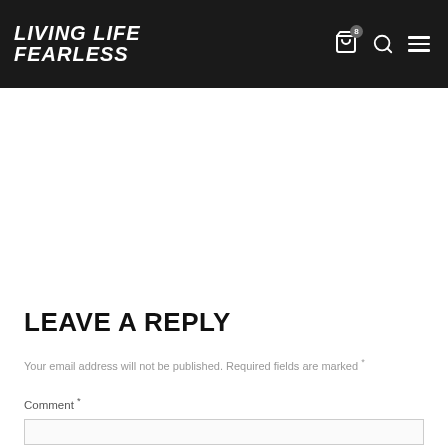Living Life Fearless — navigation header with logo, cart, search, and menu icons
LEAVE A REPLY
Your email address will not be published. Required fields are marked *
Comment *